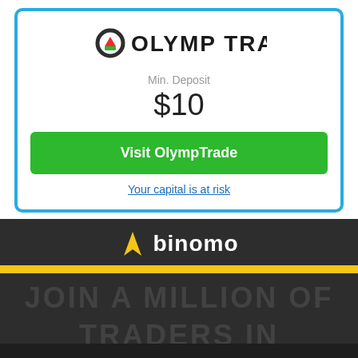[Figure (logo): Olymp Trade logo with green circle Q and red/black text 'OLYMP TRADE']
Min. Deposit
$10
Visit OlympTrade
Your capital is at risk
[Figure (logo): Binomo logo with yellow lightning bolt and white 'binomo' text on dark background]
This website uses cookies necessary for website functionality and better user experience. To learn more, please see  OUR COOKIE POLICY
Accept